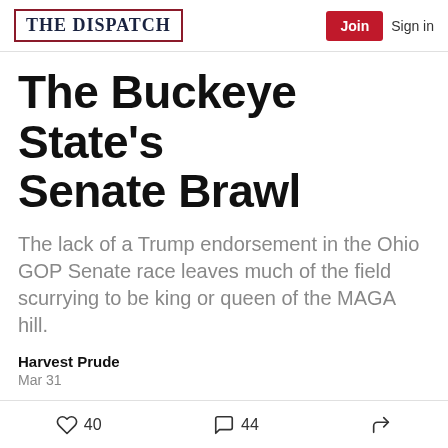THE DISPATCH | Join | Sign in
The Buckeye State's Senate Brawl
The lack of a Trump endorsement in the Ohio GOP Senate race leaves much of the field scurrying to be king or queen of the MAGA hill.
Harvest Prude
Mar 31
[Figure (photo): Partial photo of a person in front of a colorful striped background with blue, red, and gold tones]
40 likes  44 comments  share